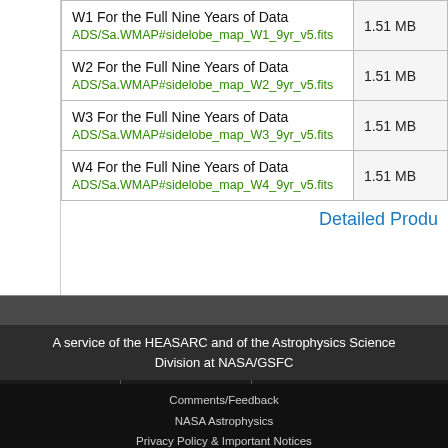| Name | Size |
| --- | --- |
| W1 For the Full Nine Years of Data
ADS/Sa.WMAP#sidelobe_map_W1_9yr_v5.fits | 1.51 MB |
| W2 For the Full Nine Years of Data
ADS/Sa.WMAP#sidelobe_map_W2_9yr_v5.fits | 1.51 MB |
| W3 For the Full Nine Years of Data
ADS/Sa.WMAP#sidelobe_map_W3_9yr_v5.fits | 1.51 MB |
| W4 For the Full Nine Years of Data
ADS/Sa.WMAP#sidelobe_map_W4_9yr_v5.fits | 1.51 MB |
Detailed Produ
A service of the HEASARC and of the Astrophysics Science Division at NASA/GSFC
[Figure (logo): NASA meatball logo]
[Figure (logo): Goddard Space Flight Center signature logo]
HEASARC Director: Dr.
LAMBDA Director: Dr. T
NASA Official: Dr. Thom
Web Curator: Mr. Micha
Comments/Feedback
NASA Astrophysics
Privacy Policy & Important Notices